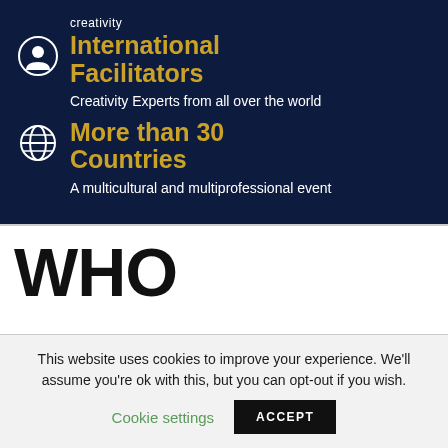creativity
International Facilitators
Creativity Experts from all over the world
More than 30 Countries
A multicultural and multiprofessional event
WHO COMES TO CPEA
This website uses cookies to improve your experience. We'll assume you're ok with this, but you can opt-out if you wish. Cookie settings ACCEPT